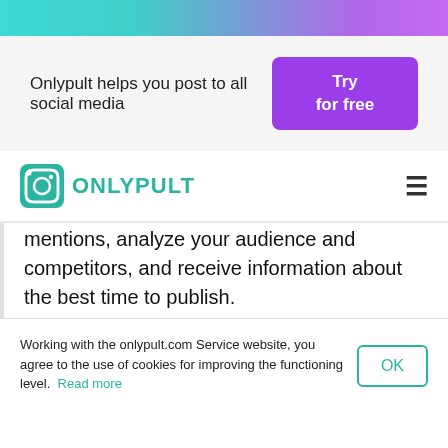[Figure (screenshot): Top gradient banner strip (teal to purple)]
Onlypult helps you post to all social media
[Figure (other): Try for free purple button]
[Figure (logo): Onlypult logo with teal icon and text]
mentions, analyze your audience and competitors, and receive information about the best time to publish.
There are a trial period and different packages with different functions: from $49 to $59. There is also priority support
Working with the onlypult.com Service website, you agree to the use of cookies for improving the functioning level. Read more